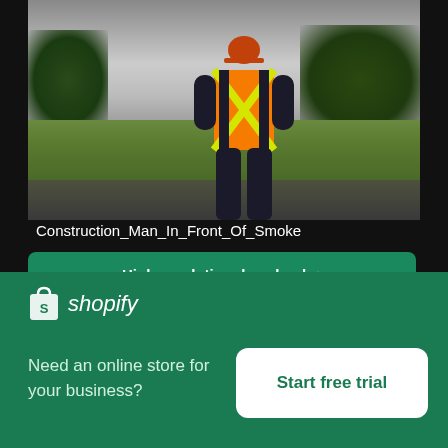[Figure (photo): A construction worker wearing an orange safety vest with yellow reflective X stripes and an orange hard hat, viewed from behind, standing in front of a field with smoke/haze in the background and trees.]
Construction_Man_In_Front_Of_Smoke
High resolution download ↓
[Figure (logo): Shopify logo: white shopping bag icon with letter S, followed by italic text 'shopify' in white]
Need an online store for your business?
Start free trial